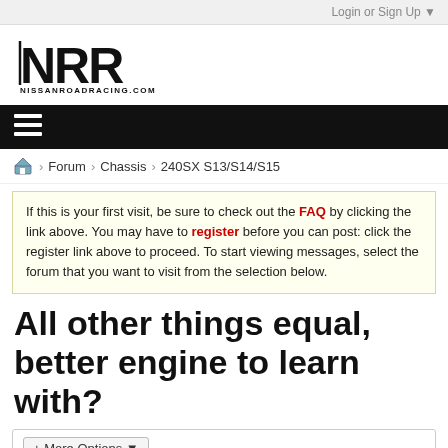Login or Sign Up ▼
[Figure (logo): NRR NissanRoadRacing.com logo]
≡
Forum > Chassis > 240SX S13/S14/S15
If this is your first visit, be sure to check out the FAQ by clicking the link above. You may have to register before you can post: click the register link above to proceed. To start viewing messages, select the forum that you want to visit from the selection below.
All other things equal, better engine to learn with?
+ More Options ▾